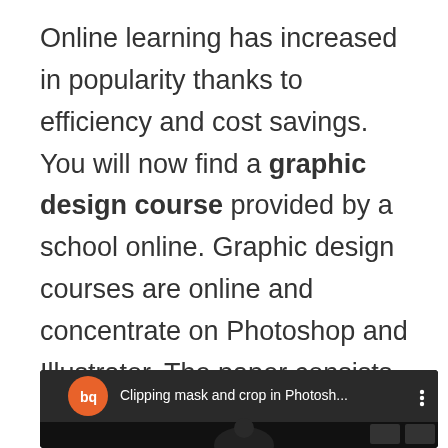Online learning has increased in popularity thanks to efficiency and cost savings. You will now find a graphic design course provided by a school online. Graphic design courses are online and concentrate on Photoshop and Illustrator. The paper consists of a variety of sections spanning from job preparation, graphic design, and portfolio development to course redesign.
[Figure (screenshot): A YouTube-style video thumbnail showing a dark background with a circular logo (orange circle with 'bq' text in white) on the left, and text 'Clipping mask and crop in Photosh...' with a three-dot menu icon on the right. Below is a dark video preview showing a person.]